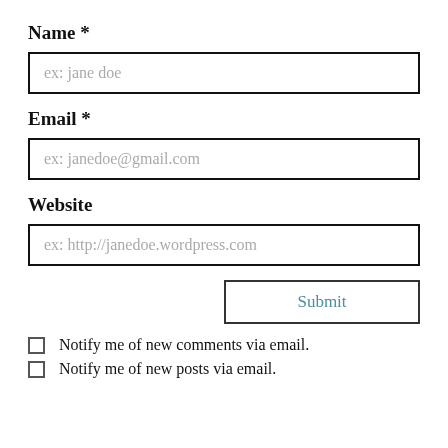Name *
[Figure (other): Text input field with placeholder 'ex: jane doe']
Email *
[Figure (other): Text input field with placeholder 'ex: janedoe@gmail.com']
Website
[Figure (other): Text input field with placeholder 'ex: http://janedoe.wordpress.com']
[Figure (other): Submit button]
Notify me of new comments via email.
Notify me of new posts via email.